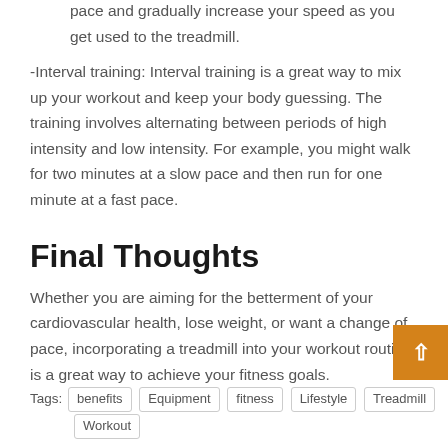pace and gradually increase your speed as you get used to the treadmill.
-Interval training: Interval training is a great way to mix up your workout and keep your body guessing. The training involves alternating between periods of high intensity and low intensity. For example, you might walk for two minutes at a slow pace and then run for one minute at a fast pace.
Final Thoughts
Whether you are aiming for the betterment of your cardiovascular health, lose weight, or want a change of pace, incorporating a treadmill into your workout routine is a great way to achieve your fitness goals.
Tags: benefits Equipment fitness Lifestyle Treadmill Workout